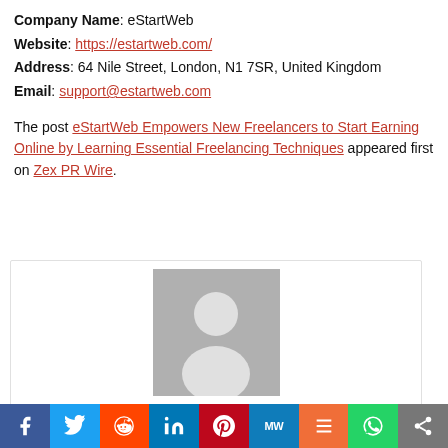Company Name: eStartWeb
Website: https://estartweb.com/
Address: 64 Nile Street, London, N1 7SR, United Kingdom
Email: support@estartweb.com
The post eStartWeb Empowers New Freelancers to Start Earning Online by Learning Essential Freelancing Techniques appeared first on Zex PR Wire.
[Figure (photo): Generic avatar placeholder image with silhouette of a person on grey background]
Catherine West
Social share bar: Facebook, Twitter, Reddit, LinkedIn, Pinterest, MW, Mix, WhatsApp, Share